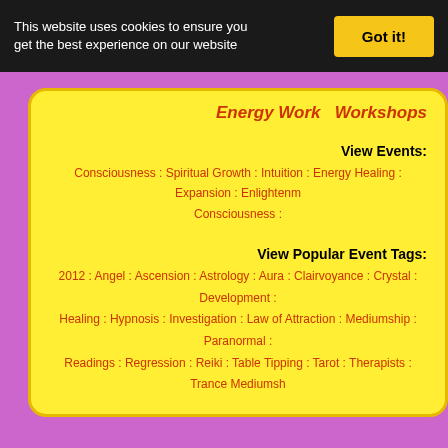This website uses cookies to ensure you get the best experience on our website
Got it!
Energy Work   Workshops
View Events:
Consciousness : Spiritual Growth : Intuition : Energy Healing : Expansion : Enlightenment : Consciousness :
View Popular Event Tags:
2012 : Angel : Ascension : Astrology : Aura : Clairvoyance : Crystal : Development : Healing : Hypnosis : Investigation : Law of Attraction : Mediumship : Paranormal : Readings : Regression : Reiki : Table Tipping : Tarot : Therapists : Trance Mediumship
View on Google Maps.
https://www.pellowahenergyhealing.com/pellowah-uk-workshops/
Edit Event Listing
Stockport Masonic Guildhall Mind Body & Spirit Event